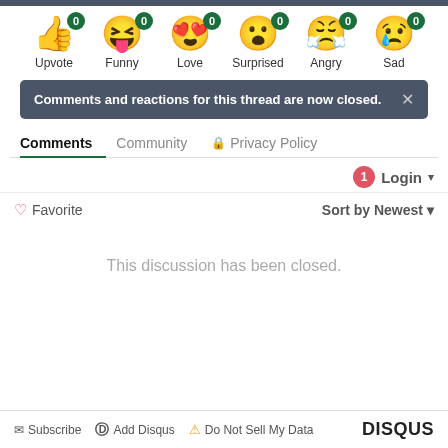[Figure (infographic): Six emoji reaction buttons (Upvote, Funny, Love, Surprised, Angry, Sad) each showing a count badge of 0 in dark green circle]
Comments and reactions for this thread are now closed.
Comments  Community  🔒 Privacy Policy
Login ▾
♡ Favorite   Sort by Newest ▾
This discussion has been closed.
✉ Subscribe  Ⓓ Add Disqus  ⚠ Do Not Sell My Data   DISQUS